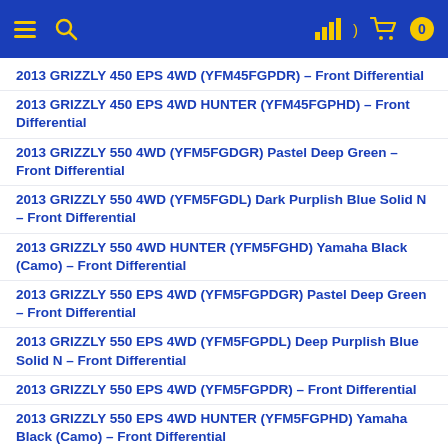Navigation header with menu, search, chart, and cart icons
2013 GRIZZLY 450 EPS 4WD (YFM45FGPDR) – Front Differential
2013 GRIZZLY 450 EPS 4WD HUNTER (YFM45FGPHD) – Front Differential
2013 GRIZZLY 550 4WD (YFM5FGDGR) Pastel Deep Green – Front Differential
2013 GRIZZLY 550 4WD (YFM5FGDL) Dark Purplish Blue Solid N – Front Differential
2013 GRIZZLY 550 4WD HUNTER (YFM5FGHD) Yamaha Black (Camo) – Front Differential
2013 GRIZZLY 550 EPS 4WD (YFM5FGPDGR) Pastel Deep Green – Front Differential
2013 GRIZZLY 550 EPS 4WD (YFM5FGPDL) Deep Purplish Blue Solid N – Front Differential
2013 GRIZZLY 550 EPS 4WD (YFM5FGPDR) – Front Differential
2013 GRIZZLY 550 EPS 4WD HUNTER (YFM5FGPHD) Yamaha Black (Camo) – Front Differential
2013 GRIZZLY 700 4WD (YFM7FGDGR) Pastel Deep Green – Front